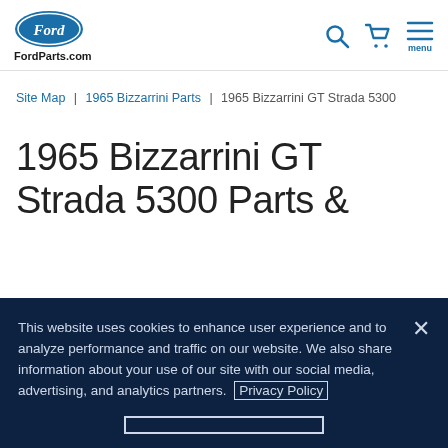FordParts.com
Site Map | 1965 Bizzarrini Parts | 1965 Bizzarrini GT Strada 5300
1965 Bizzarrini GT Strada 5300 Parts &
This website uses cookies to enhance user experience and to analyze performance and traffic on our website. We also share information about your use of our site with our social media, advertising, and analytics partners. Privacy Policy